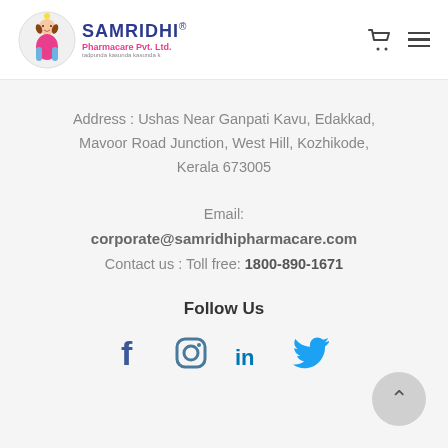[Figure (logo): Samridhi Pharmacare Pvt. Ltd. logo with cartoon girl and company name]
Address : Ushas Near Ganpati Kavu, Edakkad, Mavoor Road Junction, West Hill, Kozhikode, Kerala 673005
Email:
corporate@samridhipharmacare.com
Contact us : Toll free: 1800-890-1671
Follow Us
[Figure (illustration): Social media icons: Facebook, Instagram, LinkedIn, Twitter]